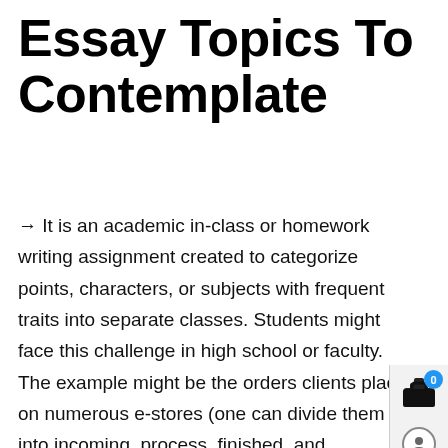Essay Topics To Contemplate
→ It is an academic in-class or homework writing assignment created to categorize points, characters, or subjects with frequent traits into separate classes. Students might face this challenge in high school or faculty. The example might be the orders clients place on numerous e-stores (one can divide them into incoming, process, finished, and delivered). A classification essay conclusion have to be as concise because the introduction. Apart from wrapping up the entire text, the purpose of a conclusion is to establish any new classes which will have been learnt in classifying things. A concluding paragraph is not any place for a contemporary